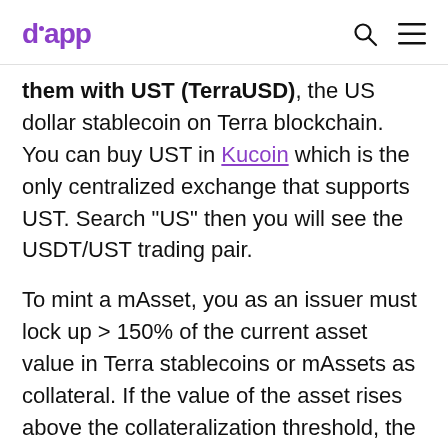dapp
them with UST (TerraUSD), the US dollar stablecoin on Terra blockchain. You can buy UST in Kucoin which is the only centralized exchange that supports UST. Search "US" then you will see the USDT/UST trading pair.
To mint a mAsset, you as an issuer must lock up > 150% of the current asset value in Terra stablecoins or mAssets as collateral. If the value of the asset rises above the collateralization threshold, the